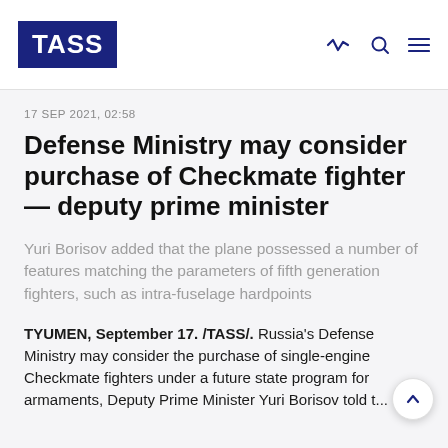TASS
17 SEP 2021, 02:58
Defense Ministry may consider purchase of Checkmate fighter — deputy prime minister
Yuri Borisov added that the plane possessed a number of features matching the parameters of fifth generation fighters, such as intra-fuselage hardpoints
TYUMEN, September 17. /TASS/. Russia's Defense Ministry may consider the purchase of single-engine Checkmate fighters under a future state program for armaments, Deputy Prime Minister Yuri Borisov told t...